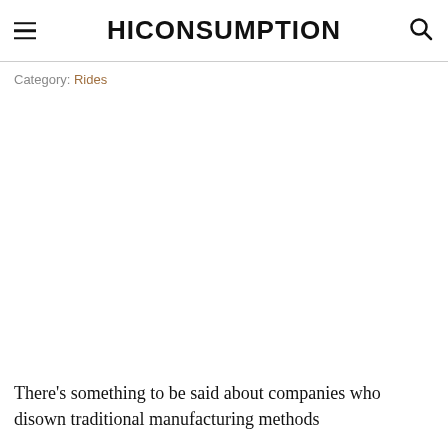HICONSUMPTION
Category: Rides
[Figure (photo): Large article image area (white/blank)]
There's something to be said about companies who disown traditional manufacturing methods